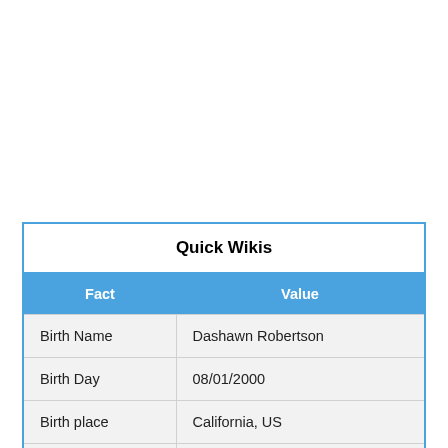Table of contents
| Fact | Value |
| --- | --- |
| Birth Name | Dashawn Robertson |
| Birth Day | 08/01/2000 |
| Birth place | California, US |
| Zodiac Sign | Leo |